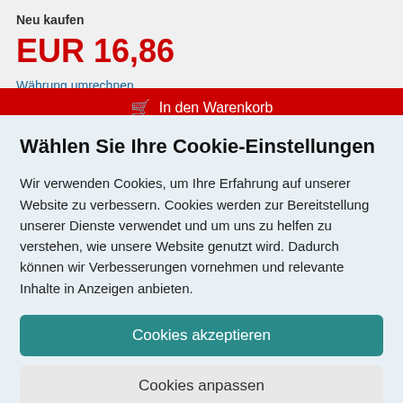Neu kaufen
EUR 16,86
Währung umrechnen
In den Warenkorb
Wählen Sie Ihre Cookie-Einstellungen
Wir verwenden Cookies, um Ihre Erfahrung auf unserer Website zu verbessern. Cookies werden zur Bereitstellung unserer Dienste verwendet und um uns zu helfen zu verstehen, wie unsere Website genutzt wird. Dadurch können wir Verbesserungen vornehmen und relevante Inhalte in Anzeigen anbieten.
Cookies akzeptieren
Cookies anpassen